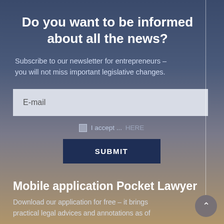Do you want to be informed about all the news?
Subscribe to our newsletter for entrepreneurs – you will not miss important legislative changes.
E-mail
I accept ... HERE
SUBMIT
Mobile application Pocket Lawyer
Download our application for free – it brings practical legal advices and annotations as of